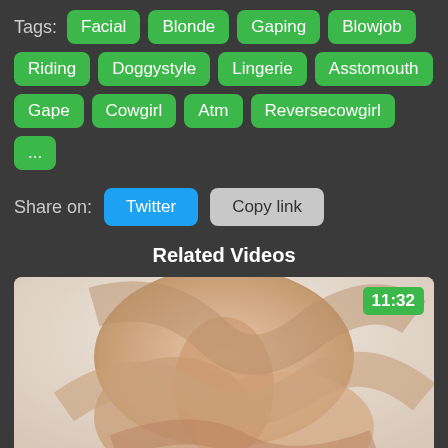Tags: Facial Blonde Gaping Blowjob Riding Doggystyle Lingerie Asstomouth Gape Cowgirl Atm Reversecowgirl ...
Share on: Twitter Copy link
Related Videos
[Figure (photo): Video thumbnail showing explicit adult content with duration badge 11:32]